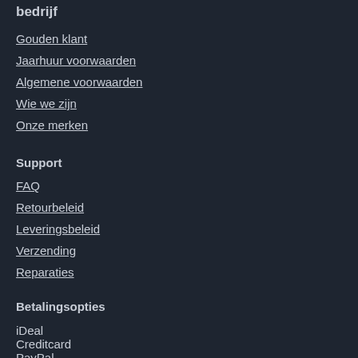bedrijf
Gouden klant
Jaarhuur voorwaarden
Algemene voorwaarden
Wie we zijn
Onze merken
Support
FAQ
Retourbeleid
Leveringsbeleid
Verzending
Reparaties
Betalingsopties
iDeal
Creditcard
PayPal